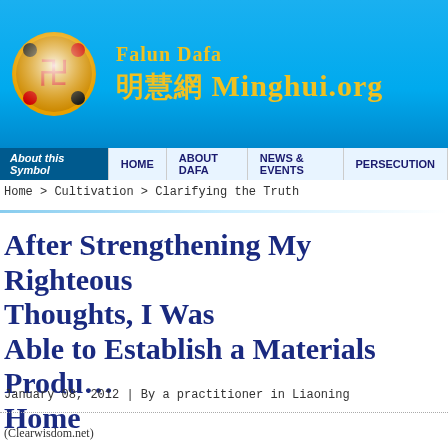Falun Dafa 明慧網 Minghui.org — About this Symbol | HOME | ABOUT DAFA | NEWS & EVENTS | PERSECUTION
Home > Cultivation > Clarifying the Truth
After Strengthening My Righteous Thoughts, I Was Able to Establish a Materials Production Site at Home
January 08, 2012 | By a practitioner in Liaoning
(Clearwisdom.net)